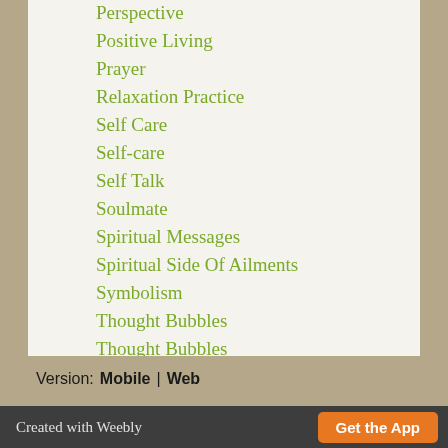Perspective
Positive Living
Prayer
Relaxation Practice
Self Care
Self-care
Self Talk
Soulmate
Spiritual Messages
Spiritual Side Of Ailments
Symbolism
Thought Bubbles
Thought Bubbles
We Are One
RSS Feed
Version: Mobile | Web
Created with Weebly  Get the App